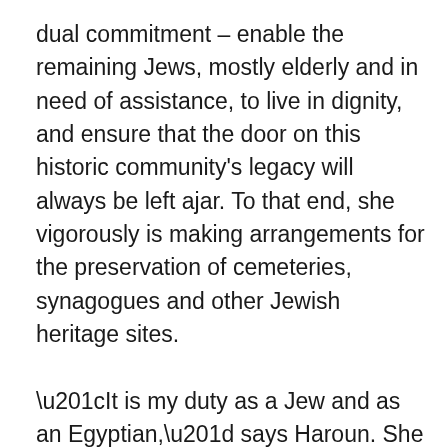dual commitment – enable the remaining Jews, mostly elderly and in need of assistance, to live in dignity, and ensure that the door on this historic community's legacy will always be left ajar. To that end, she vigorously is making arrangements for the preservation of cemeteries, synagogues and other Jewish heritage sites.

“It is my duty as a Jew and as an Egyptian,” says Haroun. She has spoken a lot with Egyptian media, reinforcing the historical fact that Jews have always been integral to